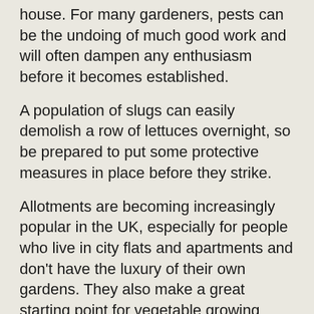house. For many gardeners, pests can be the undoing of much good work and will often dampen any enthusiasm before it becomes established.
A population of slugs can easily demolish a row of lettuces overnight, so be prepared to put some protective measures in place before they strike.
Allotments are becoming increasingly popular in the UK, especially for people who live in city flats and apartments and don't have the luxury of their own gardens. They also make a great starting point for vegetable growing even if you do have your own space at home. Allotments are full of friendly enthusiastic vegetable growers and are perhaps your best source of help and information in the early days.
Even if you don't intend to use an allotment space yourself, a quick walk around one that is local to you will give you lots of ideas about what you might try to grow and you'll also be able to see the kind of plants that are